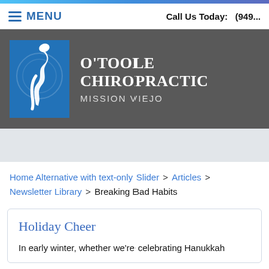MENU | Call Us Today: (949...
[Figure (logo): O'Toole Chiropractic Mission Viejo logo with white human spine/torso silhouette on blue background, with practice name in white serif text]
Home Alternative with text-only Slider > Articles > Newsletter Library > Breaking Bad Habits
Holiday Cheer
In early winter, whether we're celebrating Hanukkah